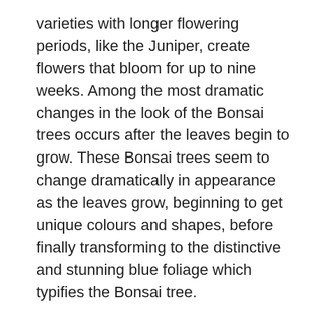varieties with longer flowering periods, like the Juniper, create flowers that bloom for up to nine weeks. Among the most dramatic changes in the look of the Bonsai trees occurs after the leaves begin to grow. These Bonsai trees seem to change dramatically in appearance as the leaves grow, beginning to get unique colours and shapes, before finally transforming to the distinctive and stunning blue foliage which typifies the Bonsai tree.
Many fans are interested in the history and characteristics of the many types of Bonsai trees, and it is not uncommon for collectors to prepare an extensive gallery displaying the outcomes of their artful and diligent efforts to cultivate those specimens. We invite you to navigate the galleries that we have available and to have a look at some of the gorgeous specimens which are showcased there. We provide a complete line of Bonsai trees, from novice to specialist collections, so you will